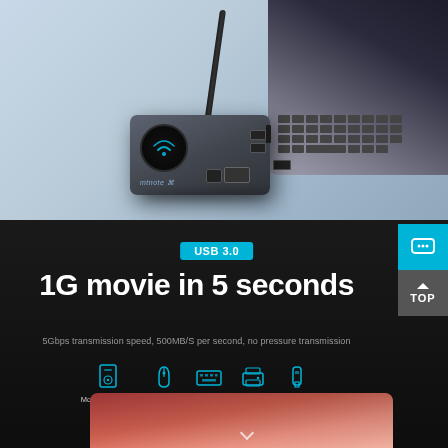[Figure (photo): USB hub device connected to a laptop via cable, showing the hub with wireless charging pad on a light blue/gray surface, with laptop keyboard visible in the upper right corner]
USB 3.0
1G movie in 5 seconds
5Gbps transmission speed, 500MB/S per second, no pressure transmission
[Figure (infographic): Five icons in a row representing compatible devices: Mobile hard disk, mouse, keyboard, printer, U disk]
[Figure (photo): Partial view of a laptop screen showing desktop interface]